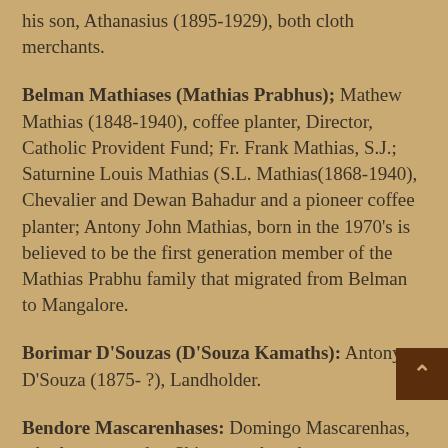his son, Athanasius (1895-1929), both cloth merchants.
Belman Mathiases (Mathias Prabhus); Mathew Mathias (1848-1940), coffee planter, Director, Catholic Provident Fund; Fr. Frank Mathias, S.J.; Saturnine Louis Mathias (S.L. Mathias(1868-1940), Chevalier and Dewan Bahadur and a pioneer coffee planter; Antony John Mathias, born in the 1970's is believed to be the first generation member of the Mathias Prabhu family that migrated from Belman to Mangalore.
Borimar D'Souzas (D'Souza Kamaths): Antony D'Souza (1875- ?), Landholder.
Bendore Mascarenhases: Domingo Mascarenhas, who later moved to Shimoga where he was employed as a Jailer; Paul Mascarenhas (1879-1962) who later settled in Bangalore; Charles Mascarenhas, officer in